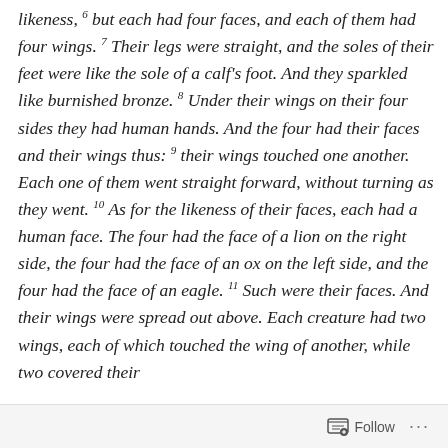likeness, 6 but each had four faces, and each of them had four wings. 7 Their legs were straight, and the soles of their feet were like the sole of a calf's foot. And they sparkled like burnished bronze. 8 Under their wings on their four sides they had human hands. And the four had their faces and their wings thus: 9 their wings touched one another. Each one of them went straight forward, without turning as they went. 10 As for the likeness of their faces, each had a human face. The four had the face of a lion on the right side, the four had the face of an ox on the left side, and the four had the face of an eagle. 11 Such were their faces. And their wings were spread out above. Each creature had two wings, each of which touched the wing of another, while two covered their
Follow ...